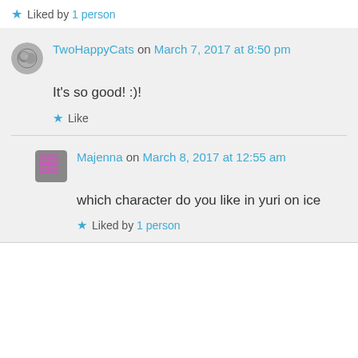★ Liked by 1 person
TwoHappyCats on March 7, 2017 at 8:50 pm
It's so good! :)!
★ Like
Majenna on March 8, 2017 at 12:55 am
which character do you like in yuri on ice
★ Liked by 1 person